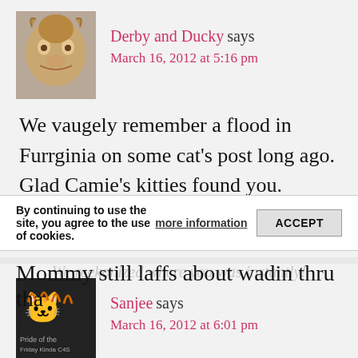Derby and Ducky says
March 16, 2012 at 5:16 pm
We vaugely remember a flood in Furrginia on some cat's post long ago. Glad Camie's kitties found you.
Sanjee says
March 16, 2012 at 6:01 pm
By continuing to use the site, you agree to the use of cookies.
more information
ACCEPT
We reekonized where you was instantly!
Mommy still laffs about wadin thru tha